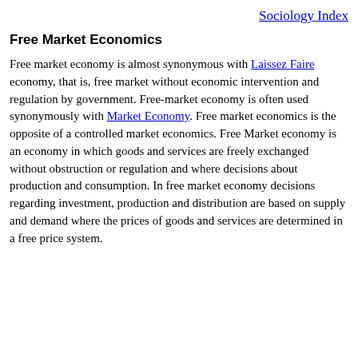Sociology Index
Free Market Economics
Free market economy is almost synonymous with Laissez Faire economy, that is, free market without economic intervention and regulation by government. Free-market economy is often used synonymously with Market Economy. Free market economics is the opposite of a controlled market economics. Free Market economy is an economy in which goods and services are freely exchanged without obstruction or regulation and where decisions about production and consumption. In free market economy decisions regarding investment, production and distribution are based on supply and demand where the prices of goods and services are determined in a free price system.